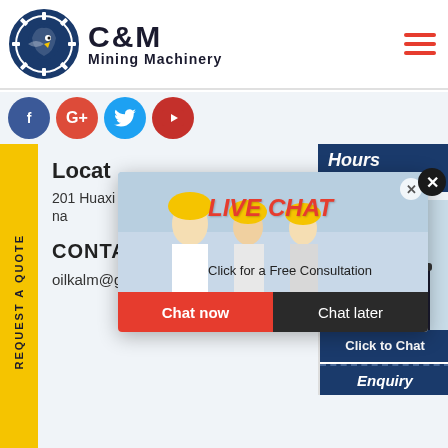[Figure (logo): C&M Mining Machinery logo with eagle-gear icon in navy blue circle and bold text]
[Figure (illustration): Hamburger menu icon with three red horizontal bars]
[Figure (illustration): Social media buttons: Facebook (blue), Google+ (red), Twitter (cyan), YouTube (red)]
REQUEST A QUOTE
Locat
201 Huaxi
na
CONTACT INFO
oilkalm@gmail.com
[Figure (infographic): Live chat popup with workers in hard hats, LIVE CHAT text in red italic, Click for a Free Consultation text, Chat now (red) and Chat later (dark) buttons]
Hours
line
[Figure (photo): Customer service agent woman with headset smiling]
Click to Chat
Enquiry